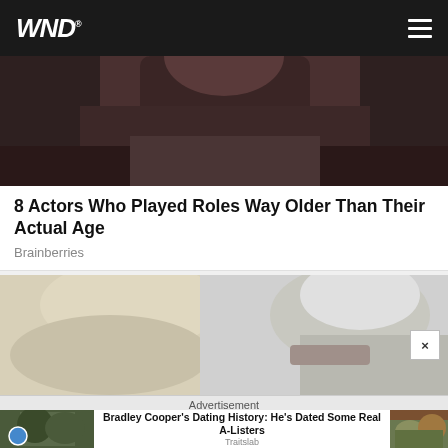WND
[Figure (photo): Photo of a person with dark curly hair, partial face visible from neck up]
8 Actors Who Played Roles Way Older Than Their Actual Age
Brainberries
[Figure (photo): Photo of two people with gray/blonde hair, older couple, outdoors]
Advertisement
[Figure (photo): Thumbnail of two people together, man with cap and woman with sunglasses]
Bradley Cooper's Dating History: He's Dated Some Real A-Listers
Traitslab
[Figure (photo): Thumbnail of food/vegetables]